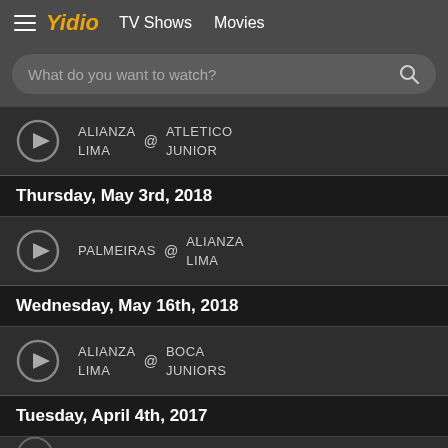Yidio  TV Shows  Movies
What do you want to watch?
ALIANZA LIMA @ ATLETICO JUNIOR
Thursday, May 3rd, 2018
PALMEIRAS @ ALIANZA LIMA
Wednesday, May 16th, 2018
ALIANZA LIMA @ BOCA JUNIORS
Tuesday, April 4th, 2017
ALIANZA